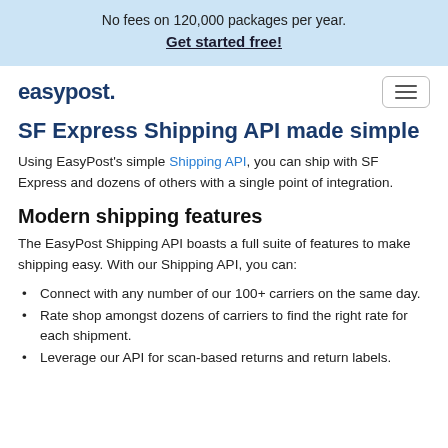No fees on 120,000 packages per year. Get started free!
easypost.
SF Express Shipping API made simple
Using EasyPost's simple Shipping API, you can ship with SF Express and dozens of others with a single point of integration.
Modern shipping features
The EasyPost Shipping API boasts a full suite of features to make shipping easy. With our Shipping API, you can:
Connect with any number of our 100+ carriers on the same day.
Rate shop amongst dozens of carriers to find the right rate for each shipment.
Leverage our API for scan-based returns and return labels.